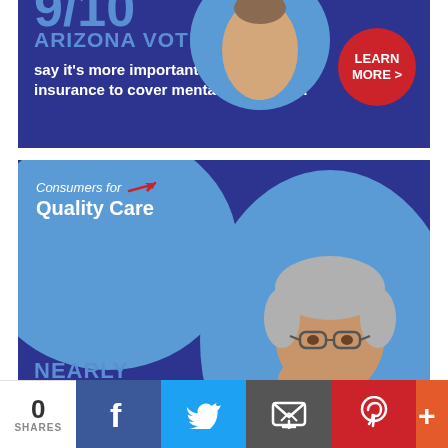[Figure (infographic): Top portion of advertisement banner (cropped). Blue background showing 'ARIZONA VOTERS say it's more important than ever for insurance to cover mental health care.' with a red circular LEARN MORE button.]
[Figure (infographic): Full advertisement banner for Consumers for Quality Care. Features an elderly Asian man, Consumers for Quality Care logo, text 'NEARLY 9/10 ARIZONA VOTERS say it's more important than ever for insurance to cover mental health care.' with a red circular LEARN MORE button on dark blue background.]
0 SHARES